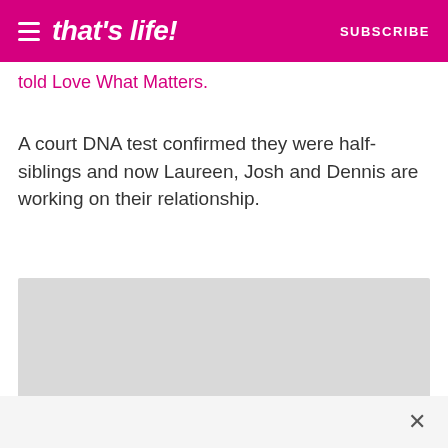that's life! SUBSCRIBE
told Love What Matters.
A court DNA test confirmed they were half-siblings and now Laureen, Josh and Dennis are working on their relationship.
[Figure (photo): Gray placeholder image box]
×